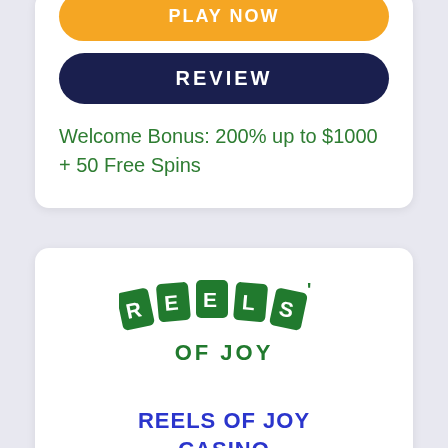[Figure (logo): Orange PLAY NOW button (partially visible at top)]
REVIEW
Welcome Bonus: 200% up to $1000 + 50 Free Spins
[Figure (logo): Reels of Joy casino logo — green playing card tiles spelling REELS with an apostrophe, and OF JOY text beneath in green]
REELS OF JOY CASINO
[Figure (other): Star rating row (partially visible orange stars)]